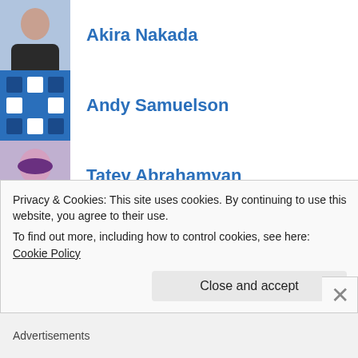Akira Nakada
Andy Samuelson
Tatev Abrahamyan
Beilin Li
Alexander Katz
Bryan Tillis & Steve Abrahams
Warren Wang
Nathan Holzmueller
Privacy & Cookies: This site uses cookies. By continuing to use this website, you agree to their use. To find out more, including how to control cookies, see here: Cookie Policy
Close and accept
Advertisements